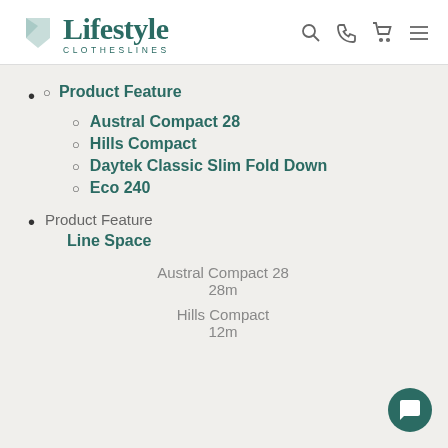Lifestyle Clotheslines
Product Feature
Austral Compact 28
Hills Compact
Daytek Classic Slim Fold Down
Eco 240
Product Feature
Line Space
Austral Compact 28
28m
Hills Compact
12m